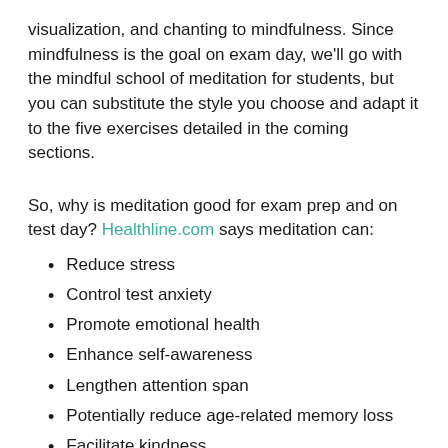visualization, and chanting to mindfulness. Since mindfulness is the goal on exam day, we'll go with the mindful school of meditation for students, but you can substitute the style you choose and adapt it to the five exercises detailed in the coming sections.
So, why is meditation good for exam prep and on test day? Healthline.com says meditation can:
Reduce stress
Control test anxiety
Promote emotional health
Enhance self-awareness
Lengthen attention span
Potentially reduce age-related memory loss
Facilitate kindness